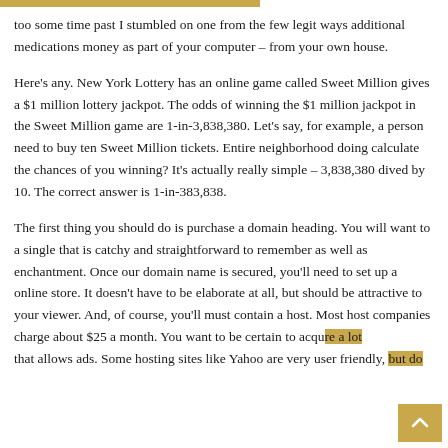too some time past I stumbled on one from the few legit ways additional medications money as part of your computer – from your own house.
Here's any. New York Lottery has an online game called Sweet Million gives a $1 million lottery jackpot. The odds of winning the $1 million jackpot in the Sweet Million game are 1-in-3,838,380. Let's say, for example, a person need to buy ten Sweet Million tickets. Entire neighborhood doing calculate the chances of you winning? It's actually really simple – 3,838,380 dived by 10. The correct answer is 1-in-383,838.
The first thing you should do is purchase a domain heading. You will want to a single that is catchy and straightforward to remember as well as enchantment. Once our domain name is secured, you'll need to set up a online store. It doesn't have to be elaborate at all, but should be attractive to your viewer. And, of course, you'll must contain a host. Most host companies charge about $25 a month. You want to be certain to acquire a lot that allows ads. Some hosting sites like Yahoo are very user friendly, but do